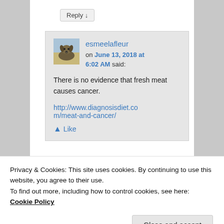Reply ↓
[Figure (screenshot): Comment block with user avatar (dog photo), username esmeelafleur, date June 13 2018 at 6:02 AM, comment text and link]
esmeelafleur on June 13, 2018 at 6:02 AM said:
There is no evidence that fresh meat causes cancer.
http://www.diagnosisdiet.com/meat-and-cancer/
Privacy & Cookies: This site uses cookies. By continuing to use this website, you agree to their use.
To find out more, including how to control cookies, see here: Cookie Policy
Close and accept